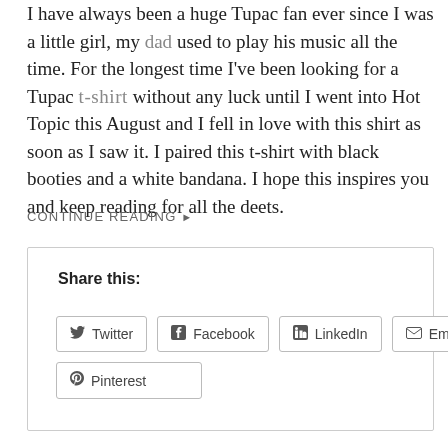I have always been a huge Tupac fan ever since I was a little girl, my dad used to play his music all the time. For the longest time I've been looking for a Tupac t-shirt without any luck until I went into Hot Topic this August and I fell in love with this shirt as soon as I saw it. I paired this t-shirt with black booties and a white bandana. I hope this inspires you and keep reading for all the deets.
CONTINUE READING ▶
Share this:
Twitter  Facebook  LinkedIn  Email  Pinterest